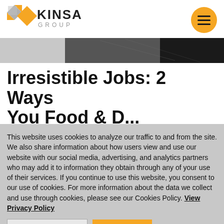[Figure (logo): Kinsa Group logo with geometric diamond/triangle shapes in gold and gray, text KINSA GROUP]
[Figure (photo): Hero image strip showing a dark blurred abstract background, partial view]
Irresistible Jobs: 2 Ways You Food & D...
This website uses cookies to analyze our traffic to and from the site. We also share information about how users view and use our website with our social media, advertising, and analytics partners who may add it to information they obtain through any of your use of their services. If you continue to use this website, you consent to our use of cookies. For more information about the data we collect and use through cookies, please see our Cookies Policy. View Privacy Policy
COOKIE SETTINGS   ACCEPT ALL   Cookies Policy